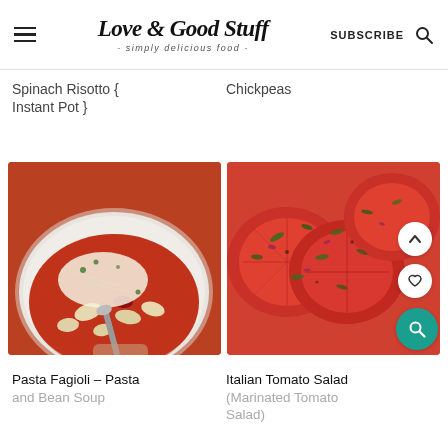Love & Good Stuff - simply delicious food - SUBSCRIBE
Spinach Risotto { Instant Pot }
Chickpeas
[Figure (photo): Bowl of pasta fagioli soup with beans, pasta, tomato broth, topped with grated parmesan cheese, held with a spoon]
[Figure (photo): Sliced tomatoes topped with herb and onion chimichurri dressing on a white plate]
Pasta Fagioli – Pasta and Bean Soup
Italian Tomato Salad (Marinated Tomato Salad)